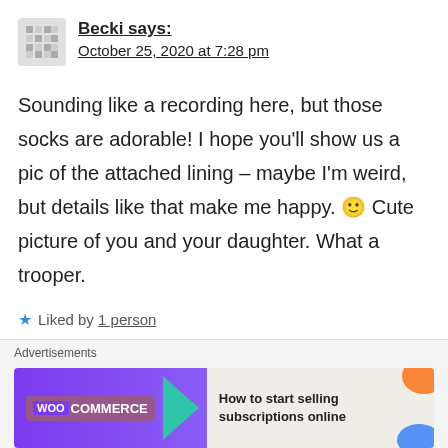[Figure (illustration): Avatar icon of a pixelated hashtag/grid pattern in gray]
Becki says:
October 25, 2020 at 7:28 pm
Sounding like a recording here, but those socks are adorable! I hope you'll show us a pic of the attached lining – maybe I'm weird, but details like that make me happy. 🙂 Cute picture of you and your daughter. What a trooper.
★ Liked by 1 person
Reply
Advertisements
[Figure (logo): WooCommerce advertisement banner with purple background, teal arrow, and text 'How to start selling subscriptions online']